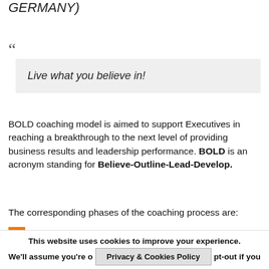GERMANY)
Live what you believe in!
BOLD coaching model is aimed to support Executives in reaching a breakthrough to the next level of providing business results and leadership performance. BOLD is an acronym standing for Believe-Outline-Lead-Develop.
The corresponding phases of the coaching process are:
BELIEVE in your Goal
OUTLINE the way forward
LEAD yourselves and your organization
This website uses cookies to improve your experience. We'll assume you're o... pt-out if you